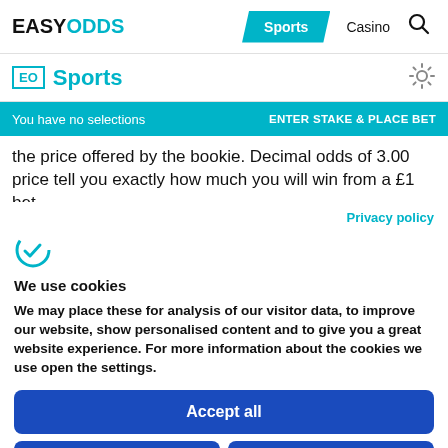EASYODDS — Sports | Casino
EO Sports
You have no selections    ENTER STAKE & PLACE BET
the price offered by the bookie. Decimal odds of 3.00 price tell you exactly how much you will win from a £1 bet
Privacy policy
[Figure (logo): Cookiebot logo icon — stylized C with checkmark]
We use cookies
We may place these for analysis of our visitor data, to improve our website, show personalised content and to give you a great website experience. For more information about the cookies we use open the settings.
Accept all
Deny
No, adjust